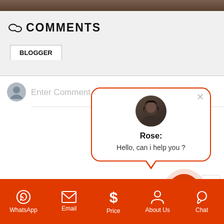[Figure (screenshot): Top image strip showing a dark brownish texture/photo]
💬 COMMENTS
BLOGGER
Enter Comment
[Figure (screenshot): Chat popup from Rose saying Hello, can i help you?]
[Figure (screenshot): Orange chat button with speech bubble icon]
WhatsApp  Email  Price  About Us  Chat